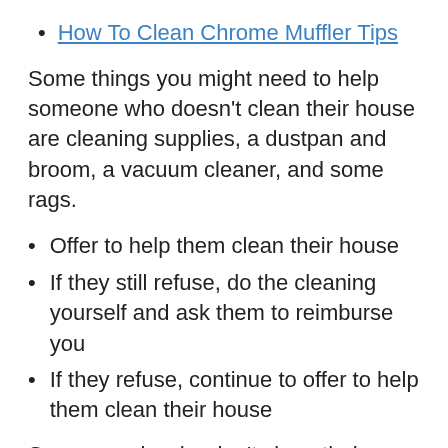How To Clean Chrome Muffler Tips
Some things you might need to help someone who doesn't clean their house are cleaning supplies, a dustpan and broom, a vacuum cleaner, and some rags.
Offer to help them clean their house
If they still refuse, do the cleaning yourself and ask them to reimburse you
If they refuse, continue to offer to help them clean their house
Some people who don't clean their house may need help getting started. Others may need help staying on track. Some people may need both. One way to help someone